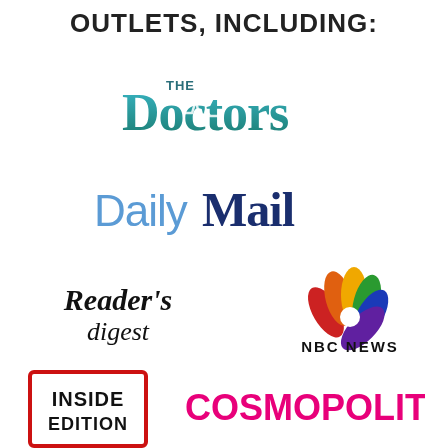OUTLETS, INCLUDING:
[Figure (logo): The Doctors TV show logo with teal/green stylized text and heartbeat line]
[Figure (logo): Daily Mail logo with 'Daily' in light blue and 'Mail' in dark blue blackletter font]
[Figure (logo): Reader's Digest logo in black serif font]
[Figure (logo): NBC News logo with colorful peacock feathers and NBC NEWS text]
[Figure (logo): Inside Edition logo in black bold text with red border box]
[Figure (logo): Cosmopolitan magazine logo in hot pink bold font]